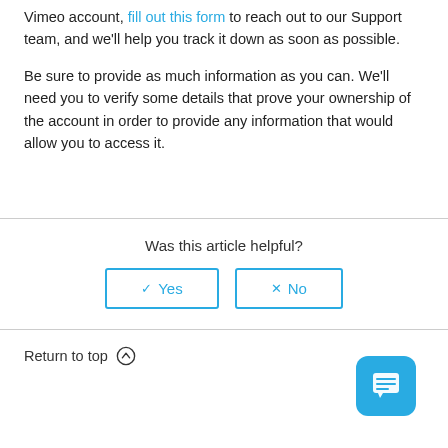Vimeo account, fill out this form to reach out to our Support team, and we'll help you track it down as soon as possible.
Be sure to provide as much information as you can. We'll need you to verify some details that prove your ownership of the account in order to provide any information that would allow you to access it.
Was this article helpful?
Return to top